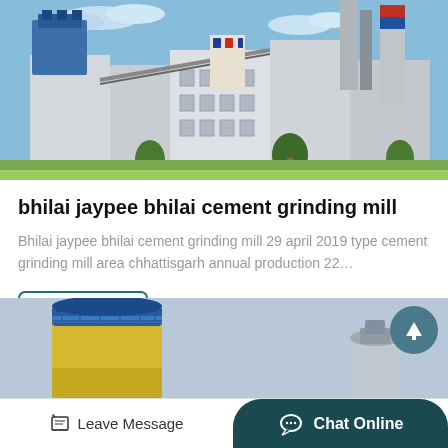[Figure (photo): Aerial/ground view of an industrial cement plant with large blue dust collectors, silos, conveyors, and white multi-story factory buildings against a blue sky.]
bhilai jaypee bhilai cement grinding mill
Bhilai jaypee bhilai cement grinding mill 29 april 2019 type cement grinding mill area chhattisgarh annual production 22…
Get Price
[Figure (photo): Industrial storage tank or silo — blue-topped cylindrical tank with a yellow/blue lower section, set against a grey sky, partly cropped at the bottom of the page.]
Leave Message   Chat Online